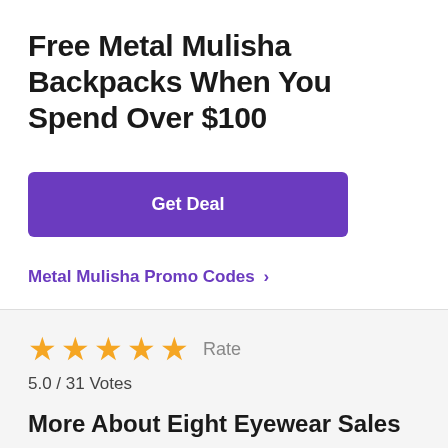Free Metal Mulisha Backpacks When You Spend Over $100
Get Deal
Metal Mulisha Promo Codes >
★★★★★ Rate
5.0 / 31 Votes
More About Eight Eyewear Sales
Welcome to atsepmont.org! atsepmont.org is a coupon site in the United States delivering free and valid Eight Eyewear Promo Codes every day. In this case, it is easy for you to save money and time when shopping at Eight Eyewear. With these verified Eight Eyewear Coupon Codes, you could receive your favorite items at a discounted price. Want to save more at Eight Eyewear? Take it